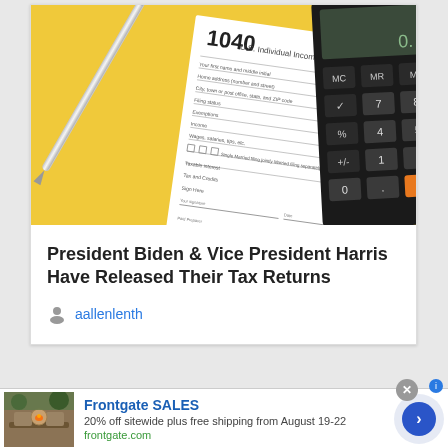[Figure (photo): Photo of IRS Form 1040 U.S. Individual Income Tax Return on a yellow background with a silver pen and a black calculator with visible keys (MC, MR, M-, 7, 8, 9, %, 4, 5, 6)]
President Biden & Vice President Harris Have Released Their Tax Returns
aallenlenth
[Figure (photo): Advertisement image showing outdoor patio furniture with fire pit]
Frontgate SALES
20% off sitewide plus free shipping from August 19-22
frontgate.com